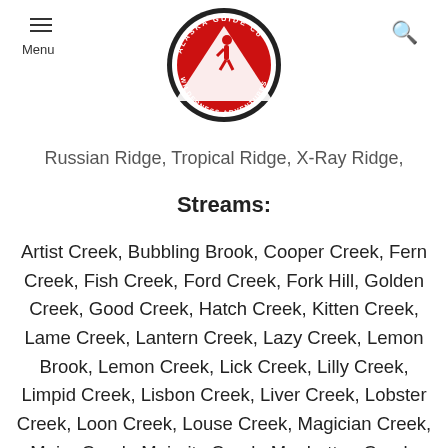Menu | Alaska Guide Co Wilderness Adventures logo | Search
Russian Ridge, Tropical Ridge, X-Ray Ridge,
Streams:
Artist Creek, Bubbling Brook, Cooper Creek, Fern Creek, Fish Creek, Ford Creek, Fork Hill, Golden Creek, Good Creek, Hatch Creek, Kitten Creek, Lame Creek, Lantern Creek, Lazy Creek, Lemon Brook, Lemon Creek, Lick Creek, Lilly Creek, Limpid Creek, Lisbon Creek, Liver Creek, Lobster Creek, Loon Creek, Louse Creek, Magician Creek, Major Creek, Majority Creek, Manhattan Creek, Manila Creek, Maylay Creek, Menace Creek, Mike Creek, Milton Creek, Minor Creek, Model Creek, Moose Creek, Nazi Creek, Raft Creek, Rainbow Creek, Random Creek, Rapid Creek, Rich Creek, Robin Creek,